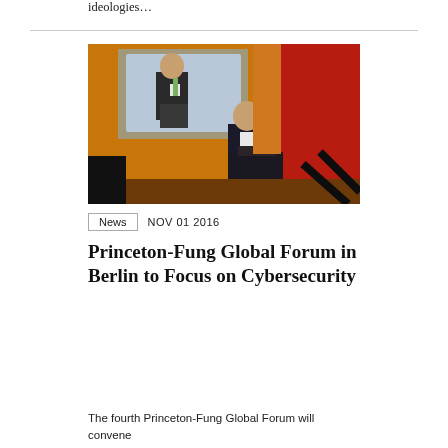ideologies…
[Figure (photo): A man in a dark suit stands at a podium on a stage with an orange and red backdrop. Behind him, a large screen displays a close-up image of what appears to be the same or another speaker at a similar podium.]
News   NOV 01 2016
Princeton-Fung Global Forum in Berlin to Focus on Cybersecurity
The fourth Princeton-Fung Global Forum will convene